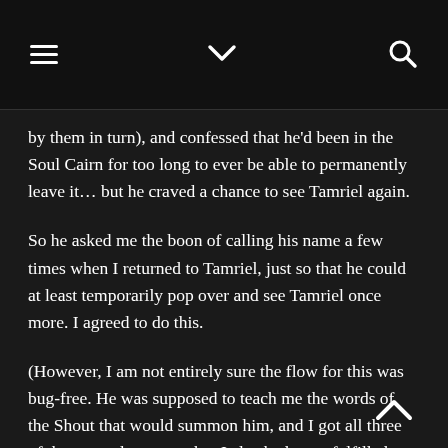[hamburger menu] [chevron down] [search icon]
by them in turn), and confessed that he'd been in the Soul Cairn for too long to ever be able to permanently leave it… but he craved a chance to see Tamriel again.
So he asked me the boon of calling his name a few times when I returned to Tamriel, just so that he could at least temporarily pop over and see Tamriel once more. I agreed to do this.
(However, I am not entirely sure the flow for this was bug-free. He was supposed to teach me the words of the Shout that would summon him, and I got all three of those words at once–but I also had an unfulfilled quest for learning the first word of that Shout still in my quest list. I think it was because I hadn't spoken to him in the correct